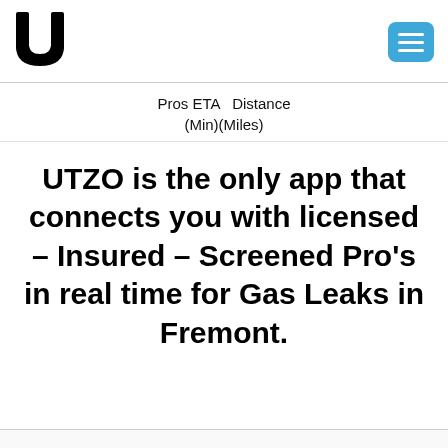[Figure (logo): UTZO logo — stylized U shape in black]
Pros ETA  Distance
(Min)(Miles)
UTZO is the only app that connects you with licensed – Insured – Screened Pro's in real time for Gas Leaks in Fremont.